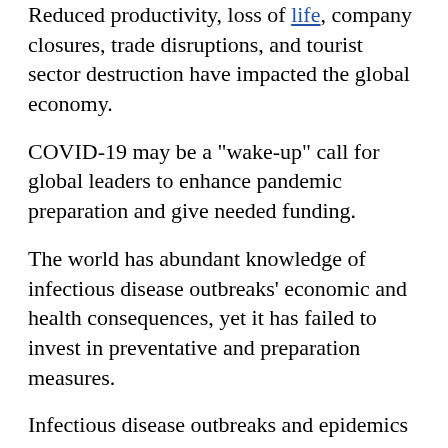Reduced productivity, loss of life, company closures, trade disruptions, and tourist sector destruction have impacted the global economy.
COVID-19 may be a "wake-up" call for global leaders to enhance pandemic preparation and give needed funding.
The world has abundant knowledge of infectious disease outbreaks' economic and health consequences, yet it has failed to invest in preventative and preparation measures.
Infectious disease outbreaks and epidemics are now global hazards demanding a collaborative response.
Although most developed countries, primarily European and North American, have intense real-time